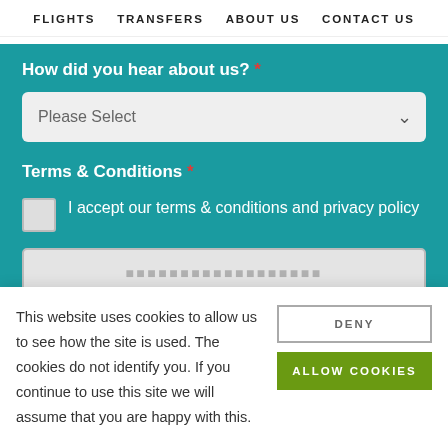FLIGHTS   TRANSFERS   ABOUT US   CONTACT US
How did you hear about us? *
Please Select
Terms & Conditions *
I accept our terms & conditions and privacy policy
This website uses cookies to allow us to see how the site is used. The cookies do not identify you. If you continue to use this site we will assume that you are happy with this.
DENY
ALLOW COOKIES